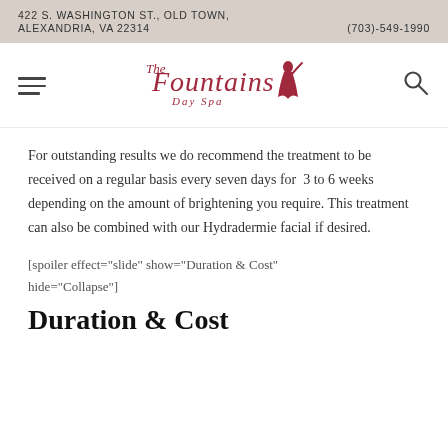422 S. WASHINGTON ST., OLD TOWN, ALEXANDRIA, VA 22314   (703)-549-1990
[Figure (logo): The Fountains Day Spa logo with cursive script and silhouette figure]
For outstanding results we do recommend the treatment to be received on a regular basis every seven days for  3 to 6 weeks depending on the amount of brightening you require. This treatment can also be combined with our Hydradermie facial if desired.
[spoiler effect="slide" show="Duration & Cost" hide="Collapse"]
Duration & Cost